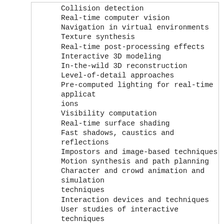Collision detection
Real-time computer vision
Navigation in virtual environments
Texture synthesis
Real-time post-processing effects
Interactive 3D modeling
In-the-wild 3D reconstruction
Level-of-detail approaches
Pre-computed lighting for real-time applications
Visibility computation
Real-time surface shading
Fast shadows, caustics and reflections
Impostors and image-based techniques
Motion synthesis and path planning
Character and crowd animation and simulation techniques
Interaction devices and techniques
User studies of interactive techniques
Sketch-based 3D modeling and design
Video game techniques
Content generation techniques for real-time